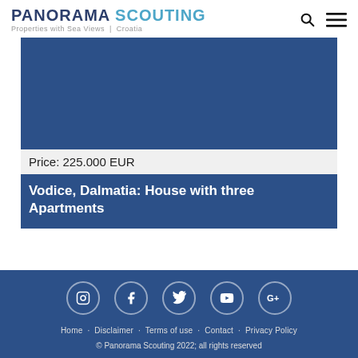PANORAMA SCOUTING Properties with Sea Views | Croatia
[Figure (photo): Blue placeholder image area for property photo]
Price: 225.000 EUR
Vodice, Dalmatia: House with three Apartments
Home · Disclaimer · Terms of use · Contact · Privacy Policy
© Panorama Scouting 2022; all rights reserved